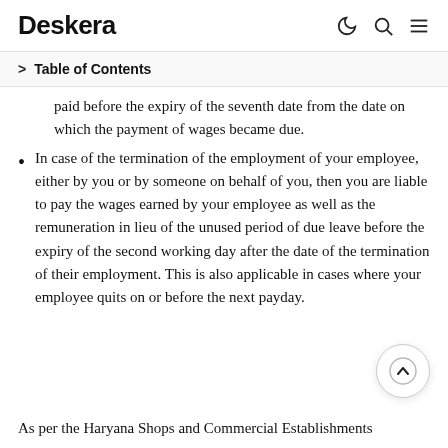Deskera
Table of Contents
paid before the expiry of the seventh date from the date on which the payment of wages became due.
In case of the termination of the employment of your employee, either by you or by someone on behalf of you, then you are liable to pay the wages earned by your employee as well as the remuneration in lieu of the unused period of due leave before the expiry of the second working day after the date of the termination of their employment. This is also applicable in cases where your employee quits on or before the next payday.
As per the Haryana Shops and Commercial Establishments